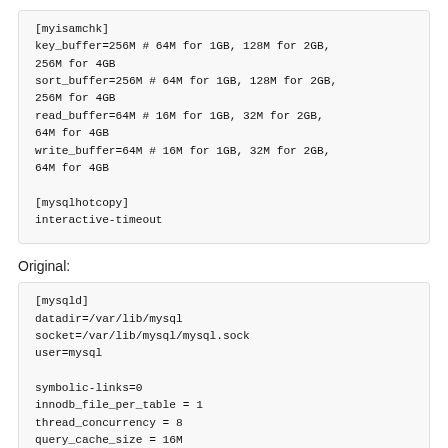[myisamchk]
key_buffer=256M # 64M for 1GB, 128M for 2GB, 256M for 4GB
sort_buffer=256M # 64M for 1GB, 128M for 2GB, 256M for 4GB
read_buffer=64M # 16M for 1GB, 32M for 2GB, 64M for 4GB
write_buffer=64M # 16M for 1GB, 32M for 2GB, 64M for 4GB

[mysqlhotcopy]
interactive-timeout
Original:
[mysqld]
datadir=/var/lib/mysql
socket=/var/lib/mysql/mysql.sock
user=mysql

symbolic-links=0
innodb_file_per_table = 1
thread_concurrency = 8
query_cache_size = 16M
thread_cache_size = 8
myisam_sort_buffer_size = 64M
read_rnd_buffer_size = 4M
read_buffer_size = 1M
net_buffer_size = 4M